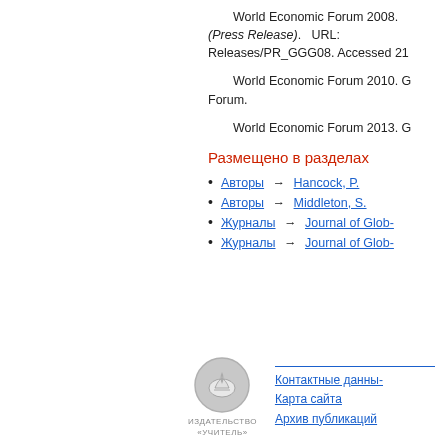World Economic Forum 2008. (Press Release). URL: Releases/PR_GGG08. Accessed 21
World Economic Forum 2010. G Forum.
World Economic Forum 2013. G
Размещено в разделах
Авторы → Hancock, P.
Авторы → Middleton, S.
Журналы → Journal of Glob-
Журналы → Journal of Glob-
[Figure (logo): Издательство Учитель logo - circular emblem with stylized book/flame symbol, grey color, with text ИЗДАТЕЛЬСТВО «УЧИТЕЛЬ» below]
Контактные данн- Карта сайта Архив публикаций